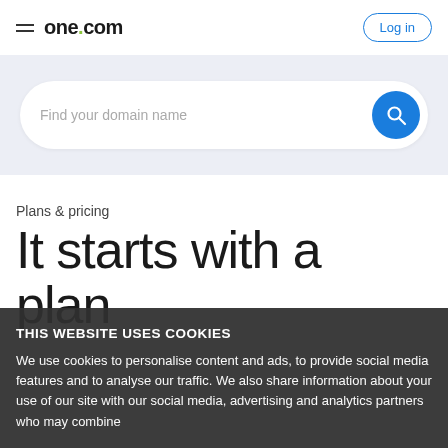one.com — Log in
[Figure (screenshot): Search bar with placeholder text 'Find your domain name' and a blue circular search button]
Plans & pricing
It starts with a plan
THIS WEBSITE USES COOKIES
We use cookies to personalise content and ads, to provide social media features and to analyse our traffic. We also share information about your use of our site with our social media, advertising and analytics partners who may combine